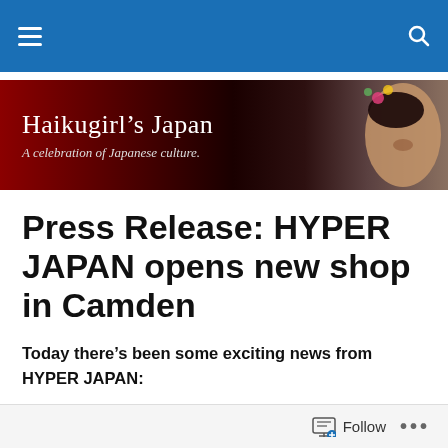Navigation bar with menu and search icons
[Figure (illustration): Haikugirl's Japan website banner. Dark red and black gradient background with a Japanese woman's face on the right. Text reads: Haikugirl's Japan — A celebration of Japanese culture.]
Press Release: HYPER JAPAN opens new shop in Camden
Today there’s been some exciting news from HYPER JAPAN:
HYPER JAPAN, the UK’s biggest celebration of Japanese culture, cuisine and cool, is pleased to announce the opening of a new shop at Stables Market, Camden Town.
Follow •••